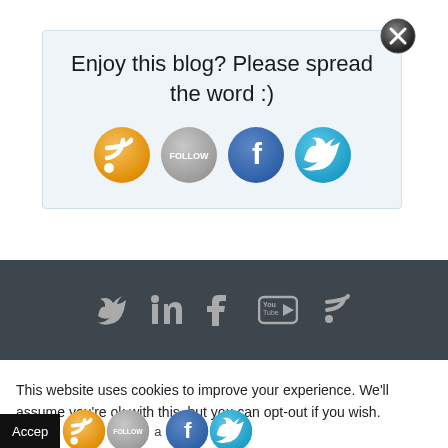Enjoy this blog? Please spread the word :)
[Figure (infographic): Social share icons: RSS (orange), Follow (grey), Facebook (blue), Twitter (blue)]
[Figure (infographic): Dark footer bar with social media icons: Twitter, LinkedIn, Facebook, YouTube, RSS]
This website uses cookies to improve your experience. We'll assume you're ok with this, but you can opt-out if you wish.
[Figure (infographic): Cookie notice bottom bar with Accept button and social icons: RSS, Follow, Facebook, Twitter]